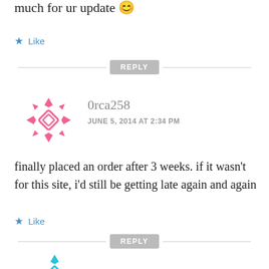much for ur update 😊
★ Like
REPLY
0rca258
JUNE 5, 2014 AT 2:34 PM
finally placed an order after 3 weeks. if it wasn't for this site, i'd still be getting late again and again
★ Like
REPLY